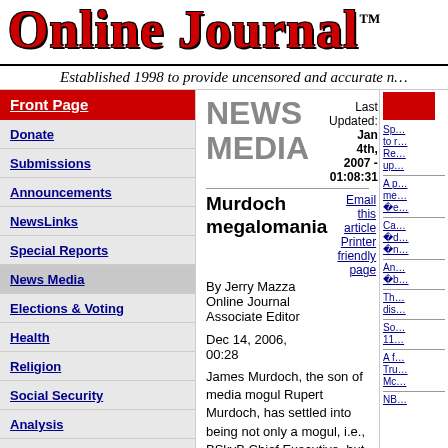Online Journal™
Established 1998 to provide uncensored and accurate n…
Front Page
Donate
Submissions
Announcements
NewsLinks
Special Reports
News Media
Elections & Voting
Health
Religion
Social Security
Analysis
NEWS MEDIA
Last Updated: Jan 4th, 2007 - 01:08:31
Murdoch megalomania
Email this article
Printer friendly page
By Jerry Mazza
Online Journal
Associate Editor
Dec 14, 2006, 00:28
James Murdoch, the son of media mogul Rupert Murdoch, has settled into being not only a mogul, i.e., BSkyB Chief Executive, but is guilty of the same megalomania he accused (with a sweep of his �unseen hand�) the BBC of exhibiting.